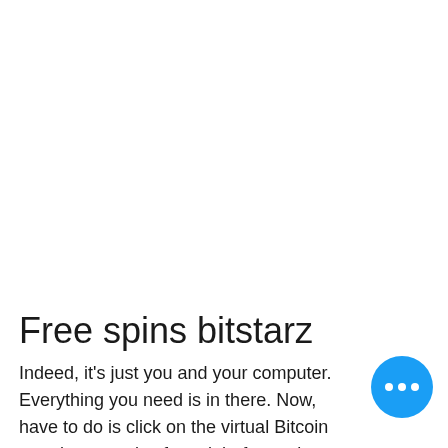Free spins bitstarz
Indeed, it's just you and your computer. Everything you need is in there. Now, have to do is click on the virtual Bitcoin earn large pools of moolah, free spins